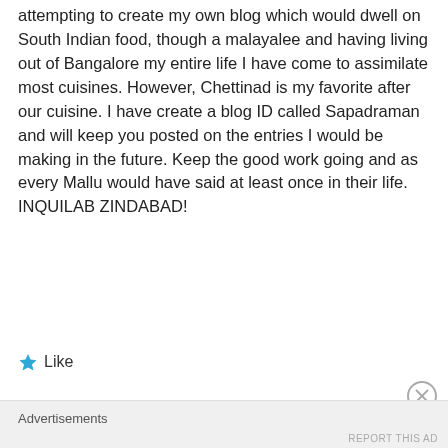attempting to create my own blog which would dwell on South Indian food, though a malayalee and having living out of Bangalore my entire life I have come to assimilate most cuisines. However, Chettinad is my favorite after our cuisine. I have create a blog ID called Sapadraman and will keep you posted on the entries I would be making in the future. Keep the good work going and as every Mallu would have said at least once in their life. INQUILAB ZINDABAD!
Like
Advertisements
REPORT THIS AD